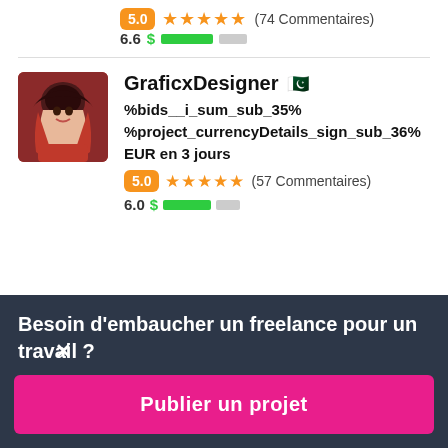5.0 ★★★★★ (74 Commentaires)
6.6 $ ████████░░
[Figure (photo): Profile photo of GraficxDesigner - woman with dark hair]
GraficxDesigner 🇵🇰
%bids__i_sum_sub_35% %project_currencyDetails_sign_sub_36% EUR en 3 jours
5.0 ★★★★★ (57 Commentaires)
6.0 $ ████████░░
Besoin d'embaucher un freelance pour un travail ?
Publier un projet